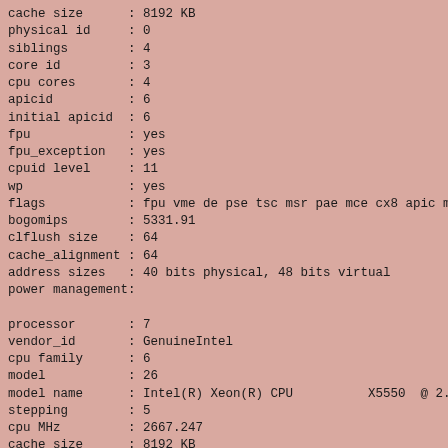cache size      : 8192 KB
physical id     : 0
siblings        : 4
core id         : 3
cpu cores       : 4
apicid          : 6
initial apicid  : 6
fpu             : yes
fpu_exception   : yes
cpuid level     : 11
wp              : yes
flags           : fpu vme de pse tsc msr pae mce cx8 apic mtr
bogomips        : 5331.91
clflush size    : 64
cache_alignment : 64
address sizes   : 40 bits physical, 48 bits virtual
power management:

processor       : 7
vendor_id       : GenuineIntel
cpu family      : 6
model           : 26
model name      : Intel(R) Xeon(R) CPU          X5550  @ 2.6
stepping        : 5
cpu MHz         : 2667.247
cache size      : 8192 KB
physical id     : 1
siblings        : 4
core id         : 3
cpu cores       : 4
apicid          : 22
initial apicid  : 22